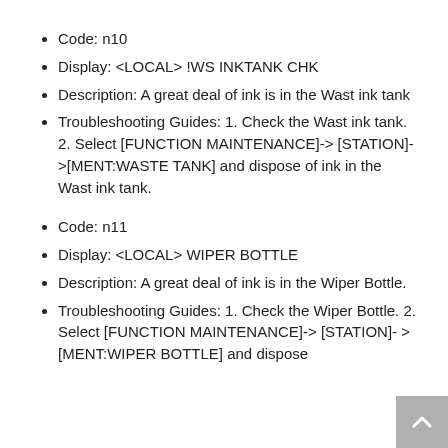Code: n10
Display: <LOCAL> !WS INKTANK CHK
Description: A great deal of ink is in the Wast ink tank
Troubleshooting Guides: 1. Check the Wast ink tank. 2. Select [FUNCTION MAINTENANCE]->[STATION]- >[MENT:WASTE TANK] and dispose of ink in the Wast ink tank.
Code: n11
Display: <LOCAL> WIPER BOTTLE
Description: A great deal of ink is in the Wiper Bottle.
Troubleshooting Guides: 1. Check the Wiper Bottle. 2. Select [FUNCTION MAINTENANCE]->[STATION]- >[MENT:WIPER BOTTLE] and dispose